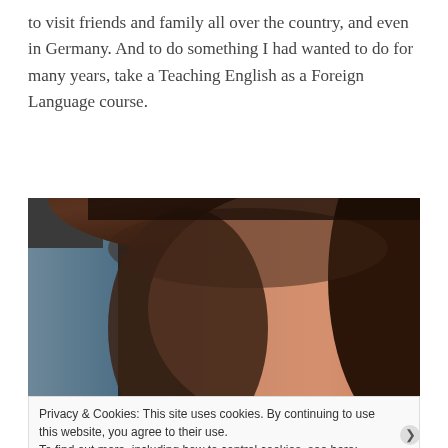to visit friends and family all over the country, and even in Germany. And to do something I had wanted to do for many years, take a Teaching English as a Foreign Language course.
[Figure (photo): Close-up photo of a person with brown hair, partially cropped, showing face and hair against a dark background.]
Privacy & Cookies: This site uses cookies. By continuing to use this website, you agree to their use.
To find out more, including how to control cookies, see here: Cookie Policy